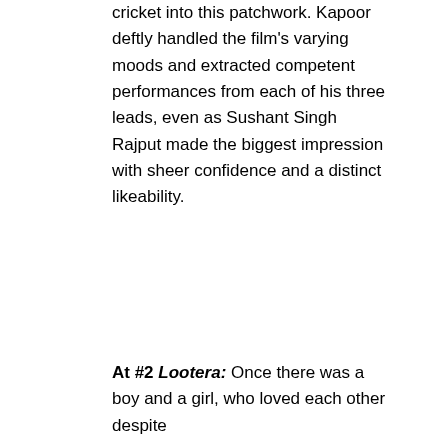cricket into this patchwork. Kapoor deftly handled the film's varying moods and extracted competent performances from each of his three leads, even as Sushant Singh Rajput made the biggest impression with sheer confidence and a distinct likeability.
At #2 Lootera: Once there was a boy and a girl, who loved each other despite